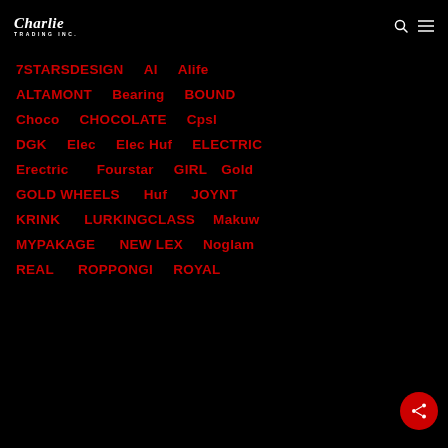[Figure (logo): Charlie Trading Inc. logo — white text on black background, italic serif 'Charlie' over sans-serif 'TRADING INC.']
7STARSDESIGN
AI
Alife
ALTAMONT
Bearing
BOUND
Choco
CHOCOLATE
Cpsl
DGK
Elec
Elec Huf
ELECTRIC
Erectric
Fourstar
GIRL
Gold
GOLD WHEELS
Huf
JOYNT
KRINK
LURKINGCLASS
Makuw
MYPAKAGE
NEW LEX
Noglam
REAL
ROPPONGI
ROYAL